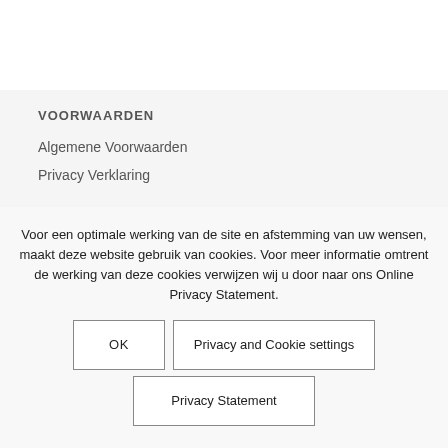VOORWAARDEN
Algemene Voorwaarden
Privacy Verklaring
VOLG ONS
Voor een optimale werking van de site en afstemming van uw wensen, maakt deze website gebruik van cookies. Voor meer informatie omtrent de werking van deze cookies verwijzen wij u door naar ons Online Privacy Statement.
OK
Privacy and Cookie settings
Privacy Statement